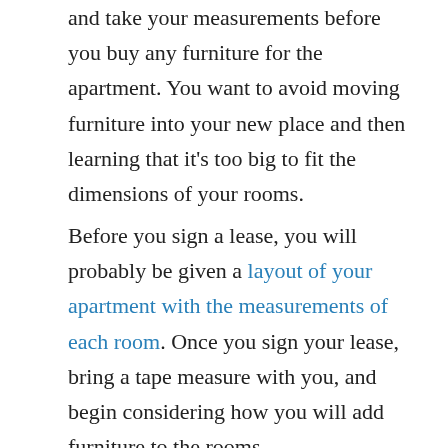and take your measurements before you buy any furniture for the apartment. You want to avoid moving furniture into your new place and then learning that it's too big to fit the dimensions of your rooms.
Before you sign a lease, you will probably be given a layout of your apartment with the measurements of each room. Once you sign your lease, bring a tape measure with you, and begin considering how you will add furniture to the rooms.